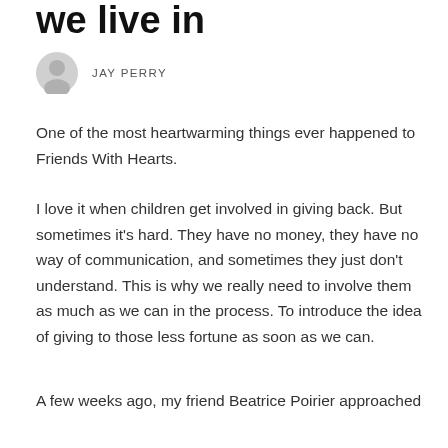we live in
[Figure (illustration): Circular avatar icon of a person silhouette in grey]
JAY PERRY
One of the most heartwarming things ever happened to Friends With Hearts.
I love it when children get involved in giving back. But sometimes it’s hard. They have no money, they have no way of communication, and sometimes they just don’t understand. This is why we really need to involve them as much as we can in the process. To introduce the idea of giving to those less fortune as soon as we can.
A few weeks ago, my friend Beatrice Poirier approached